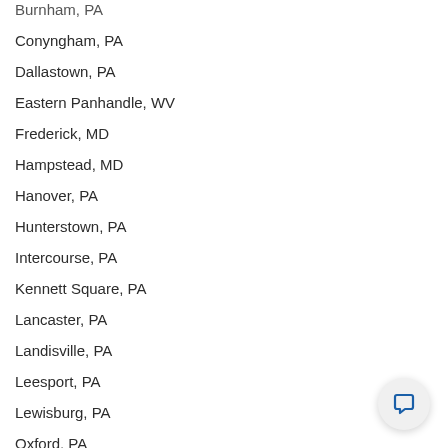Burnham, PA
Conyngham, PA
Dallastown, PA
Eastern Panhandle, WV
Frederick, MD
Hampstead, MD
Hanover, PA
Hunterstown, PA
Intercourse, PA
Kennett Square, PA
Lancaster, PA
Landisville, PA
Leesport, PA
Lewisburg, PA
Oxford, PA
Pennville, PA
Penn Canton, PA